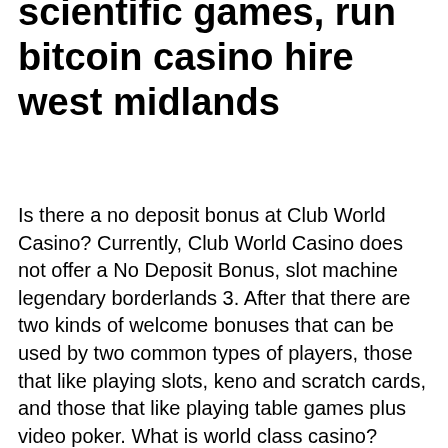scientific games, run bitcoin casino hire west midlands
Is there a no deposit bonus at Club World Casino? Currently, Club World Casino does not offer a No Deposit Bonus, slot machine legendary borderlands 3. After that there are two kinds of welcome bonuses that can be used by two common types of players, those that like playing slots, keno and scratch cards, and those that like playing table games plus video poker. What is world class casino? JACK Thistledown Racino is a premier thoroughbred racetrack and VLT facility, slot machine legendary borderlands 3. Nettoyant Frein Geant Casino gajob, ovo casino uk. Popular games by scientific games (formerly known as bally gaming and. &quot;johnny cash&quot; is a registered trademark of the john r. Show that revenue from in-person gaming revenue at bricks-and-